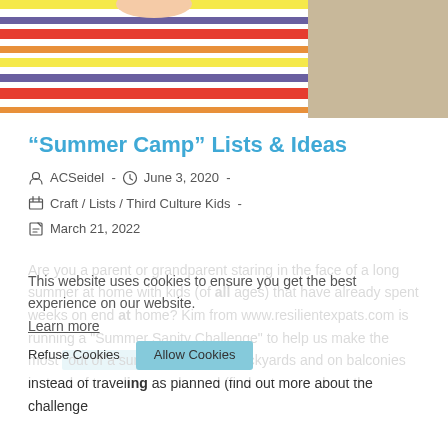[Figure (photo): Photo of a child wearing a colorful striped shirt (yellow, red, blue, white stripes) against a beige background. Only the torso/shirt area is visible.]
“Summer Camp” Lists & Ideas
ACSeidel - June 3, 2020 - Craft / Lists / Third Culture Kids - March 21, 2022
Are you a parent or grandparent staring in the face of a long summer at home with kids (of all ages) that have already spent weeks on end at home? Kim from www.resilientexpats.com is running a "Summer Sanity Challenge" to help us make the most out of a summer spent in backyards and on balconies instead of traveling as planned (find out more about the challenge
This website uses cookies to ensure you get the best experience on our website. Learn more